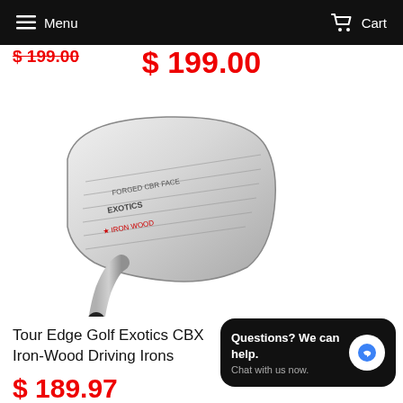Menu | Cart
$ 199.00 (strikethrough) / $ 199.00 (sale price)
[Figure (photo): Tour Edge Golf Exotics CBX Iron-Wood Driving Iron club head, silver/chrome finish, shown at angle against white background]
Tour Edge Golf Exotics CBX Iron-Wood Driving Irons
$ 189.97
Questions? We can help. Chat with us now.